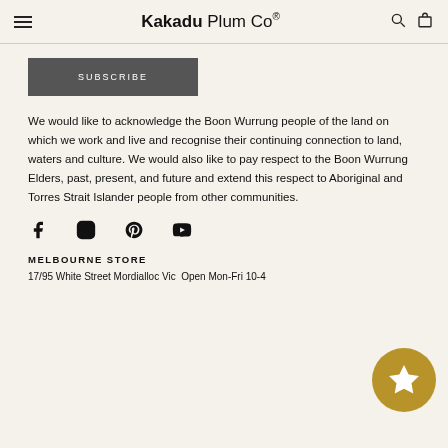Kakadu Plum Co®
SUBSCRIBE
We would like to acknowledge the Boon Wurrung people of the land on which we work and live and recognise their continuing connection to land, waters and culture. We would also like to pay respect to the Boon Wurrung Elders, past, present, and future and extend this respect to Aboriginal and Torres Strait Islander people from other communities.
[Figure (other): Social media icons: Facebook, Instagram, Pinterest, YouTube]
MELBOURNE STORE
17/95 White Street Mordialloc Vic  Open Mon-Fri 10-4